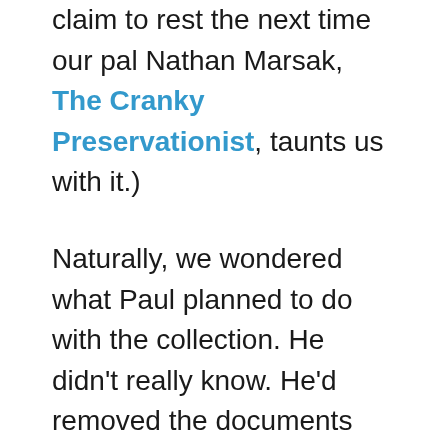claim to rest the next time our pal Nathan Marsak, The Cranky Preservationist, taunts us with it.)
Naturally, we wondered what Paul planned to do with the collection. He didn't really know. He'd removed the documents from the basement to protect them, had looked after them for 32 years, and felt the weight of the responsibility. He was open to handing these artifacts off, if the right home could be found. So we introduced him to Erin Chase, assistant curator of architecture and photography at the Huntington Library, and after expressing great interest